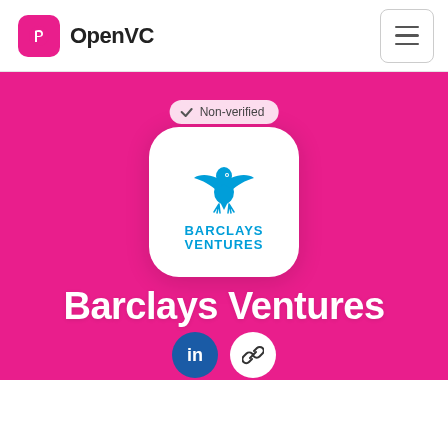OpenVC
[Figure (logo): Barclays Ventures logo on white rounded square card with blue eagle and BARCLAYS VENTURES text]
Non-verified
Barclays Ventures
[Figure (illustration): LinkedIn and link social media icon buttons]